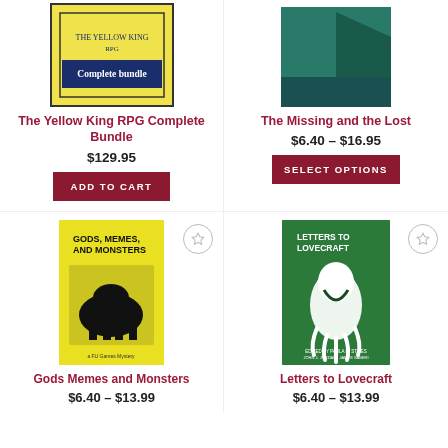[Figure (photo): The Yellow King RPG Complete Bundle book cover - yellow background with dark blue title band]
The Yellow King RPG Complete Bundle
$129.95
ADD TO CART
[Figure (photo): The Missing and the Lost book cover - teal/green geometric design]
The Missing and the Lost
$6.40 – $16.95
SELECT OPTIONS
[Figure (photo): Gods Memes and Monsters book cover - yellow with black illustrated figures]
Gods Memes and Monsters
$6.40 – $13.99
[Figure (photo): Letters to Lovecraft book cover - green with white ghost/squid illustration]
Letters to Lovecraft
$6.40 – $13.99